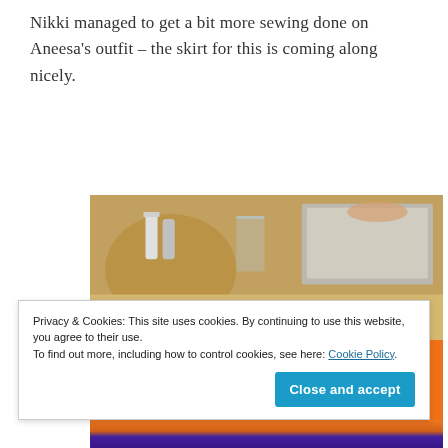Nikki managed to get a bit more sewing done on Aneesa's outfit – the skirt for this is coming along nicely.
[Figure (photo): A photo of colorful fabric on a table – bright orange fabric with a purple and gold decorative trim/border laid across it. In the background are table items including a salt shaker, glass, and a laptop.]
Privacy & Cookies: This site uses cookies. By continuing to use this website, you agree to their use.
To find out more, including how to control cookies, see here: Cookie Policy
Close and accept